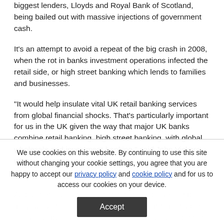biggest lenders, Lloyds and Royal Bank of Scotland, being bailed out with massive injections of government cash.
It's an attempt to avoid a repeat of the big crash in 2008, when the rot in banks investment operations infected the retail side, or high street banking which lends to families and businesses.
"It would help insulate vital UK retail banking services from global financial shocks. That's particularly important for us in the UK given the way that major UK banks combine retail banking, high street banking, with global wholesale and investment banking," said John Vickers who
We use cookies on this website. By continuing to use this site without changing your cookie settings, you agree that you are happy to accept our privacy policy and cookie policy and for us to access our cookies on your device.